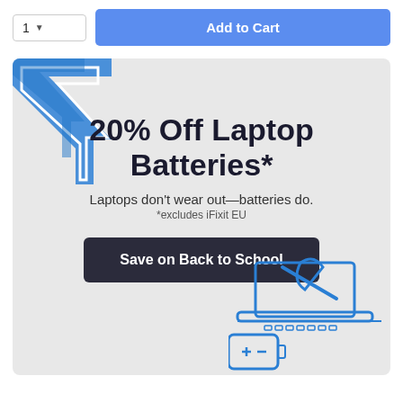[Figure (screenshot): Quantity selector showing '1' with dropdown arrow, and blue 'Add to Cart' button]
[Figure (infographic): Promotional banner for 20% Off Laptop Batteries sale with lightning bolt arrow illustration in top-left, headline text, subtext 'Laptops don't wear out—batteries do.', footnote '*excludes iFixit EU', a dark 'Save on Back to School' button, and a laptop repair illustration in bottom-right corner]